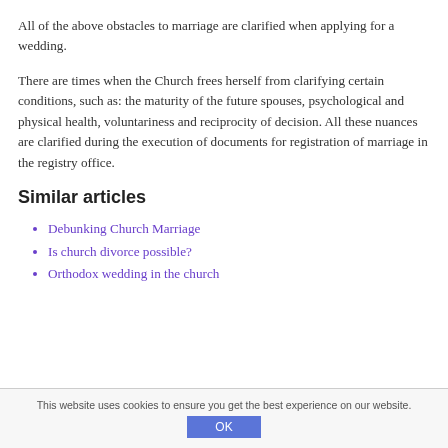All of the above obstacles to marriage are clarified when applying for a wedding.
There are times when the Church frees herself from clarifying certain conditions, such as: the maturity of the future spouses, psychological and physical health, voluntariness and reciprocity of decision. All these nuances are clarified during the execution of documents for registration of marriage in the registry office.
Similar articles
Debunking Church Marriage
Is church divorce possible?
Orthodox wedding in the church
This website uses cookies to ensure you get the best experience on our website.